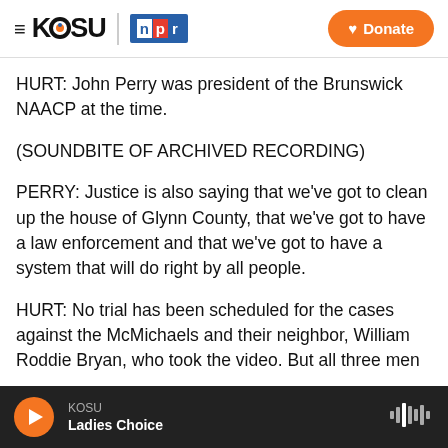KOSU | npr — Donate
HURT: John Perry was president of the Brunswick NAACP at the time.
(SOUNDBITE OF ARCHIVED RECORDING)
PERRY: Justice is also saying that we've got to clean up the house of Glynn County, that we've got to have a law enforcement and that we've got to have a system that will do right by all people.
HURT: No trial has been scheduled for the cases against the McMichaels and their neighbor, William Roddie Bryan, who took the video. But all three men
KOSU — Ladies Choice